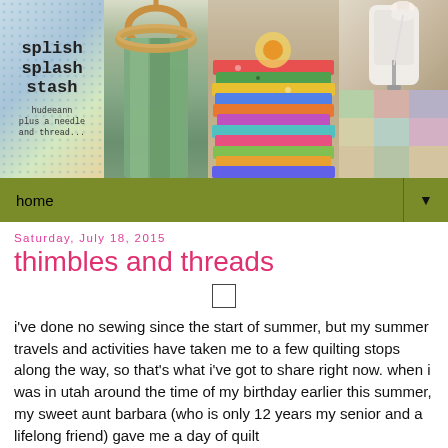[Figure (photo): Blog header collage showing four images: a fabric with text 'splish splash stash hudeeann plus a needle and thread', hanging green fabric on a wicker hanger, a stack of colorful quilting fabrics, and a sewing machine with quilts in the background.]
home ▼
Saturday, July 18, 2015
thimbles and threads
[Figure (other): Small empty image placeholder square]
i've done no sewing since the start of summer, but my summer travels and activities have taken me to a few quilting stops along the way, so that's what i've got to share right now. when i was in utah around the time of my birthday earlier this summer, my sweet aunt barbara (who is only 12 years my senior and a lifelong friend) gave me a day of quilt